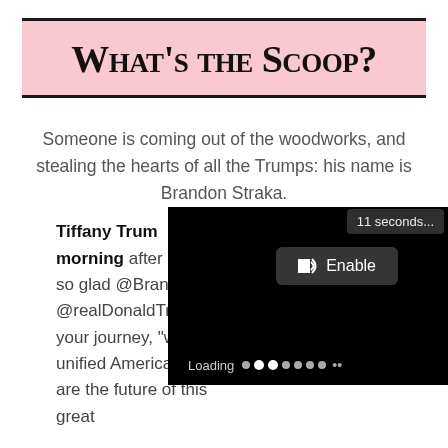What's the Scoop?
Someone is coming out of the woodworks, and stealing the hearts of all the Trumps: his name is Brandon Straka.
[Figure (screenshot): Video player overlay showing a black screen with '11 seconds...' timer badge in top right, a speaker/Enable button in center, and a loading indicator with dots at the bottom.]
Tiffany Trum... morning after a m... so glad @Brand... @realDonaldTru... your journey, "wa... unified America! We are the future of this great